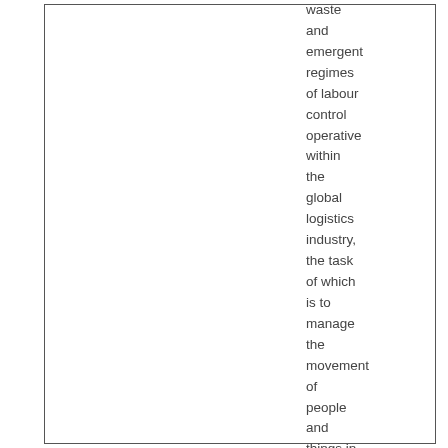waste and emergent regimes of labour control operative within the global logistics industry, the task of which is to manage the movement of people and things in the interests of communication, transport